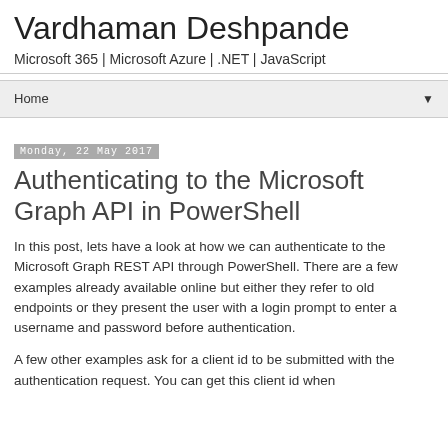Vardhaman Deshpande
Microsoft 365 | Microsoft Azure | .NET | JavaScript
Home ▼
Monday, 22 May 2017
Authenticating to the Microsoft Graph API in PowerShell
In this post, lets have a look at how we can authenticate to the Microsoft Graph REST API through PowerShell. There are a few examples already available online but either they refer to old endpoints or they present the user with a login prompt to enter a username and password before authentication.
A few other examples ask for a client id to be submitted with the authentication request. You can get this client id when